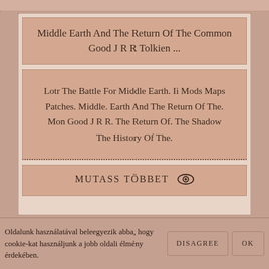Middle Earth And The Return Of The Common Good J R R Tolkien ...
Lotr The Battle For Middle Earth. Ii Mods Maps Patches. Middle. Earth And The Return Of The. Mon Good J R R. The Return Of. The Shadow The History Of The.
MUTASS TÖBBET
Oldalunk használatával beleegyezik abba, hogy cookie-kat használjunk a jobb oldali élmény érdekében.